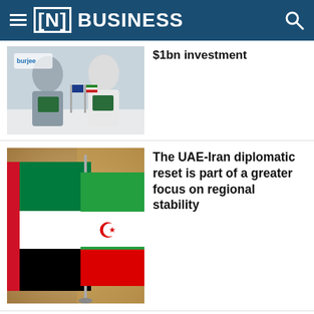[N] BUSINESS
$1bn investment
[Figure (photo): Two people in business attire holding green folders at a signing ceremony with flags and the Burjeel logo visible]
The UAE-Iran diplomatic reset is part of a greater focus on regional stability
[Figure (photo): UAE flag and Iran flag side by side, flag miniatures on a table with blurred background]
NEWSLETTERS
Checking In (Thursdays)